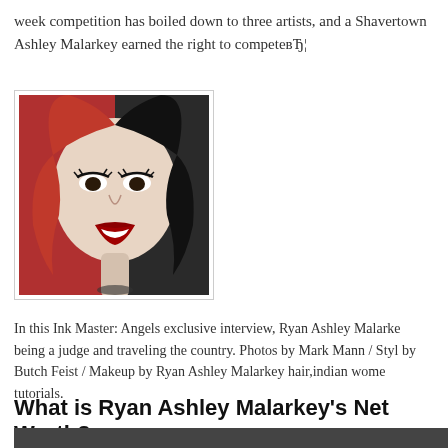week competition has boiled down to three artists, and a Shavertown Ashley Malarkey earned the right to competeвЂ¦
[Figure (photo): Portrait photo of a woman with half red hair and half black hair, dramatic makeup, smiling, high-contrast black and white style on right side]
In this Ink Master: Angels exclusive interview, Ryan Ashley Malarke being a judge and traveling the country. Photos by Mark Mann / Styl by Butch Feist / Makeup by Ryan Ashley Malarkey hair,indian wome tutorials.
What is Ryan Ashley Malarkey's Net Worth?
[Figure (photo): Bottom partial photo, dark toned image, partially cut off]